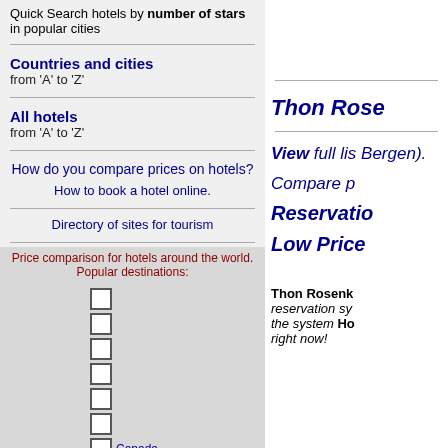Quick Search hotels by number of stars in popular cities
Countries and cities
from 'A' to 'Z'
All hotels
from 'A' to 'Z'
How do you compare prices on hotels?
How to book a hotel online.
Directory of sites for tourism
Price comparison for hotels around the world. Popular destinations:
Canada
China
Cuba
Thon Rose
View full list Bergen).
Compare p
Reservation
Low Price
Thon Rosenk reservation sy the system Ho right now!